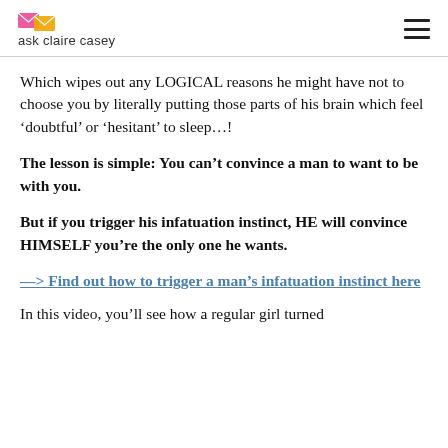ask claire casey
Which wipes out any LOGICAL reasons he might have not to choose you by literally putting those parts of his brain which feel ‘doubtful’ or ‘hesitant’ to sleep…!
The lesson is simple: You can’t convince a man to want to be with you.
But if you trigger his infatuation instinct, HE will convince HIMSELF you’re the only one he wants.
––> Find out how to trigger a man’s infatuation instinct here
In this video, you’ll see how a regular girl turned